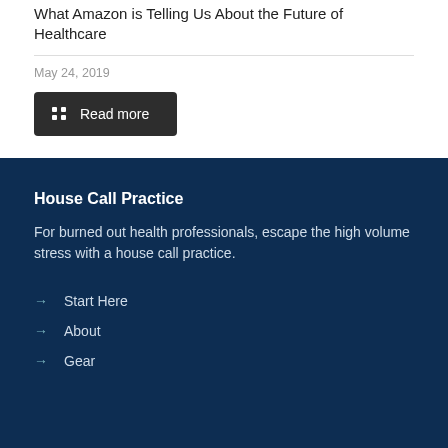What Amazon is Telling Us About the Future of Healthcare
May 24, 2019
Read more
House Call Practice
For burned out health professionals, escape the high volume stress with a house call practice.
Start Here
About
Gear